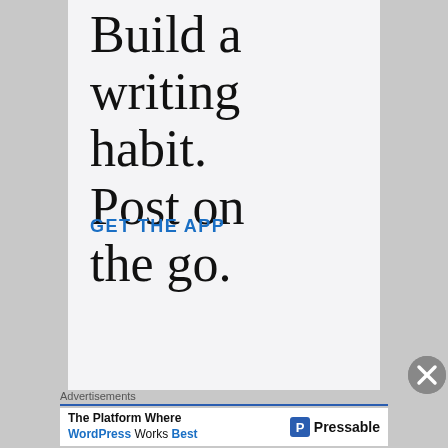Build a writing habit. Post on the go.
GET THE APP
[Figure (screenshot): Close/dismiss button (X in a gray circle)]
Advertisements
[Figure (other): Pressable advertisement banner: 'The Platform Where WordPress Works Best' with Pressable logo]